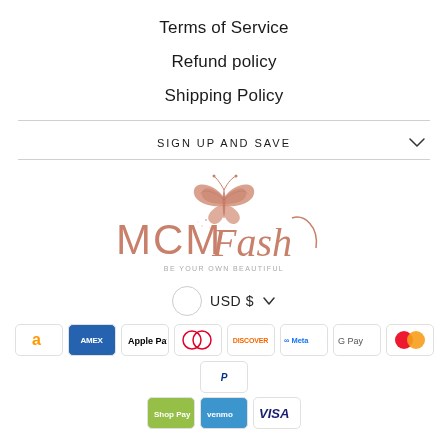Terms of Service
Refund policy
Shipping Policy
SIGN UP AND SAVE
[Figure (logo): MCM Fash logo with butterfly and tagline BE YOUR OWN BEAUTIFUL]
USD $
[Figure (infographic): Payment method icons: Amazon, Amex, Apple Pay, Diners Club, Discover, Meta Pay, Google Pay, Mastercard, PayPal, Shop Pay, Venmo, Visa]